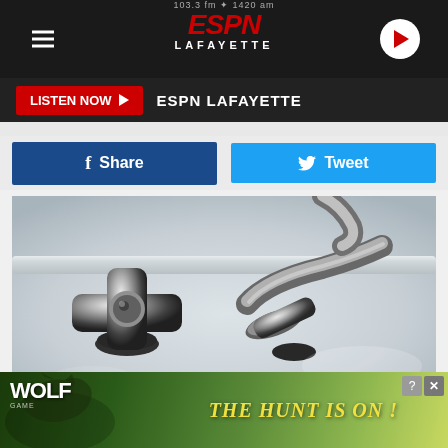103.3 fm / 1420 am | ESPN LAFAYETTE
LISTEN NOW ▶  ESPN LAFAYETTE
Share  Tweet
[Figure (photo): Close-up photograph of two chrome bathroom sink faucet handles on a white porcelain sink]
Staff Photo
Bathroom Faucets
Bathro... t in the
[Figure (photo): Wolf game advertisement banner with wolves and yellow text: THE HUNT IS ON!]